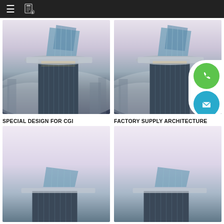≡ [app icon]
[Figure (photo): Aerial view of a modern glass skyscraper top with angular glass canopy structure emerging from misty urban skyline - left panel]
[Figure (photo): Aerial view of a modern glass skyscraper top with angular glass canopy structure emerging from misty urban skyline - right panel, with floating contact buttons overlay]
SPECIAL DESIGN FOR CGI
FACTORY SUPPLY ARCHITECTURE
[Figure (photo): Partially visible aerial architectural rendering of glass building top - bottom left, cropped]
[Figure (photo): Partially visible aerial architectural rendering of glass building top - bottom right, cropped]